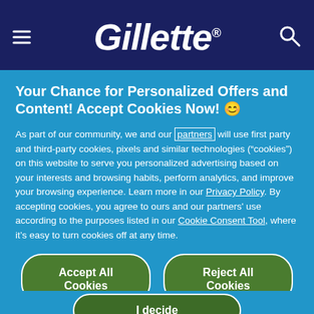Gillette
Your Chance for Personalized Offers and Content! Accept Cookies Now! 😊
As part of our community, we and our partners will use first party and third-party cookies, pixels and similar technologies ("cookies") on this website to serve you personalized advertising based on your interests and browsing habits, perform analytics, and improve your browsing experience. Learn more in our Privacy Policy. By accepting cookies, you agree to ours and our partners' use according to the purposes listed in our Cookie Consent Tool, where it's easy to turn cookies off at any time.
Accept All Cookies
Reject All Cookies
I decide